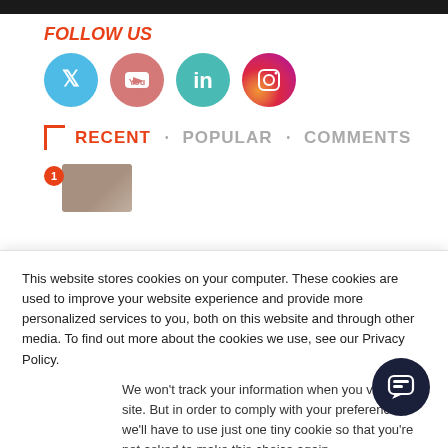[Figure (infographic): Social media follow icons: Twitter (blue circle), YouTube (pink/red circle), LinkedIn (teal circle), Instagram (gradient circle)]
RECENT • POPULAR • COMMENTS
[Figure (photo): Thumbnail image with orange number 1 badge]
This website stores cookies on your computer. These cookies are used to improve your website experience and provide more personalized services to you, both on this website and through other media. To find out more about the cookies we use, see our Privacy Policy.
We won't track your information when you visit our site. But in order to comply with your preferences, we'll have to use just one tiny cookie so that you're not asked to make this choice again.
[Figure (other): Accept and Decline cookie consent buttons, plus chat widget button]